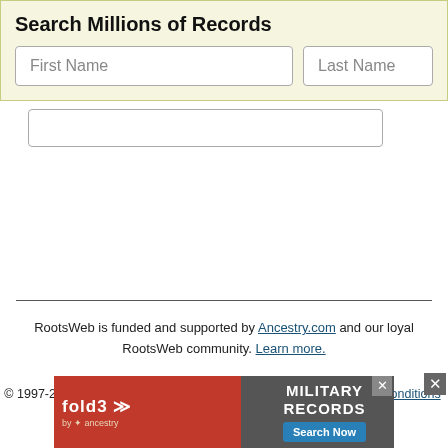Search Millions of Records
[Figure (screenshot): Search form with First Name and Last Name input fields on a light yellow-green background]
RootsWeb is funded and supported by Ancestry.com and our loyal RootsWeb community. Learn more.
About Us | Contact Us | Rootsweb Blog | Copyright
© 1997-2022 Ancestry  Corporate Information  Privacy  Terms and Conditions  CCPA Notice at Collection
[Figure (screenshot): Fold3 Military Records advertisement banner with Search Now button]